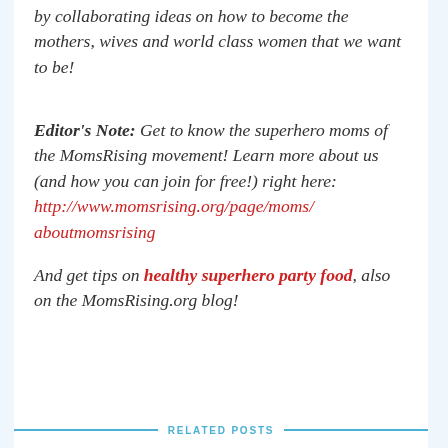by collaborating ideas on how to become the mothers, wives and world class women that we want to be!
Editor's Note: Get to know the superhero moms of the MomsRising movement! Learn more about us (and how you can join for free!) right here: http://www.momsrising.org/page/moms/aboutmomsrising

And get tips on healthy superhero party food, also on the MomsRising.org blog!
RELATED POSTS